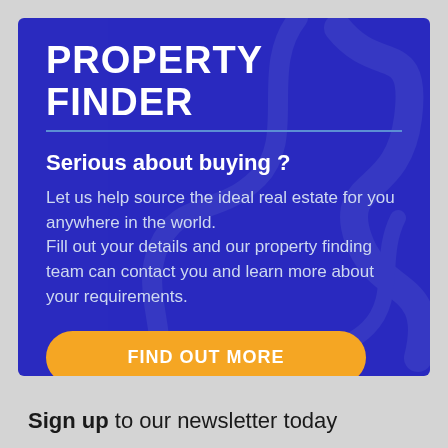PROPERTY FINDER
Serious about buying ?
Let us help source the ideal real estate for you anywhere in the world.
Fill out your details and our property finding team can contact you and learn more about your requirements.
FIND OUT MORE
Sign up to our newsletter today